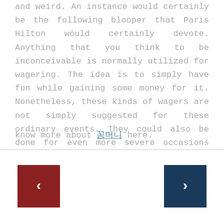and weird. An instance would certainly be the following blooper that Paris Hilton would certainly devote. Anything that you think to be inconceivable is normally utilized for wagering. The idea is to simply have fun while gaining some money for it. Nonetheless, these kinds of wagers are not simply suggested for these ordinary events. They could also be done for even more severe occasions such as the next American head of state. This sort of wagering typically brings in individuals who are into national politics as well as more major problems.
know more about 꽁머니 here.